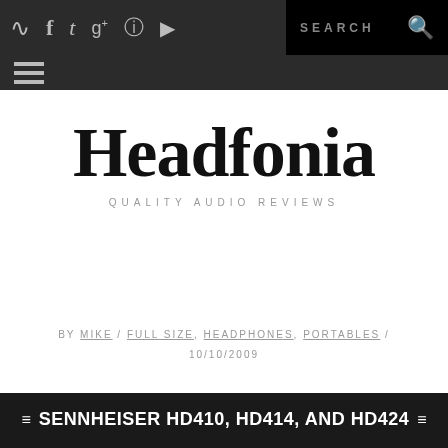Headfonia — navigation bar with social icons and search
Headfonia
QUALITY AUDIO REVIEWS
BY MIKE / FULL SIZE, HEADPHONES, PORTABLES / 10/10/2009
SENNHEISER HD410, HD414, AND HD424